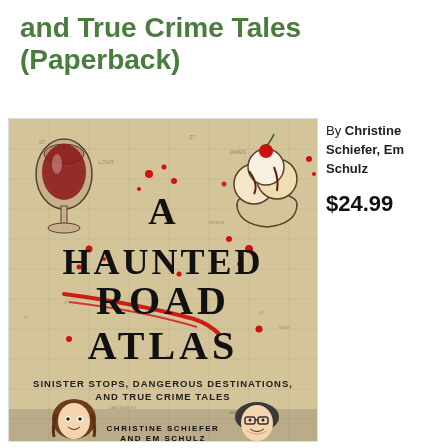and True Crime Tales (Paperback)
[Figure (photo): Book cover of 'A Haunted Road Atlas: Sinister Stops, Dangerous Destinations, and True Crime Tales' by Christine Schiefer and Em Schulz. The cover features a vintage map background with blood splatter, large black serif text for the title, illustrated food items (wine glass, ice cream sundae), and cartoon portraits of the authors at the bottom.]
By Christine Schiefer, Em Schulz
$24.99